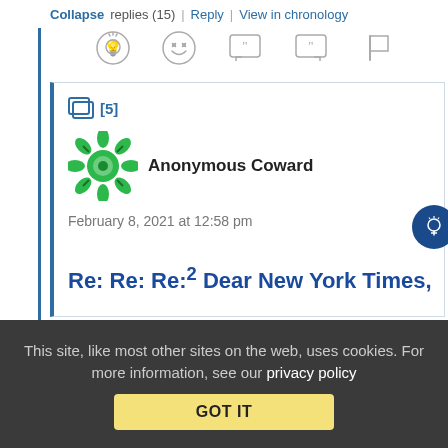Collapse replies (15) | Reply | View in chronology
[Figure (infographic): Icon toolbar with lightbulb, laugh emoji, open-quote bubble, close-quote bubble, and flag icons]
[5]
[Figure (logo): Anonymous Coward green gear/flower avatar icon]
Anonymous Coward
February 8, 2021 at 12:58 pm
Re: Re: Re:² Dear New York Times,
This site, like most other sites on the web, uses cookies. For more information, see our privacy policy
GOT IT